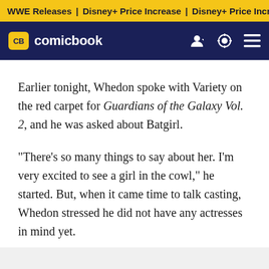WWE Releases | Disney+ Price Increase | Disney+ Price Increase
CB comicbook
Earlier tonight, Whedon spoke with Variety on the red carpet for Guardians of the Galaxy Vol. 2, and he was asked about Batgirl.
"There's so many things to say about her. I'm very excited to see a girl in the cowl," he started. But, when it came time to talk casting, Whedon stressed he did not have any actresses in mind yet.